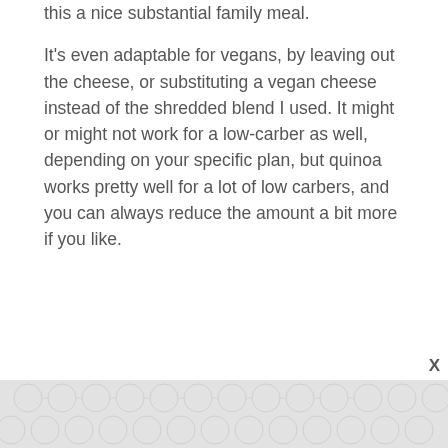this a nice substantial family meal.
It's even adaptable for vegans, by leaving out the cheese, or substituting a vegan cheese instead of the shredded blend I used. It might or might not work for a low-carber as well, depending on your specific plan, but quinoa works pretty well for a lot of low carbers, and you can always reduce the amount a bit more if you like.
Quinoa and Black Bean Stuffed Zucchini
You can amp up the heartiness of this a bit, by adding ½ pound of ground turkey, which has been browned in a bit of olive oil.
[Figure (photo): Photo of stuffed zucchini dish, partially visible at bottom of card]